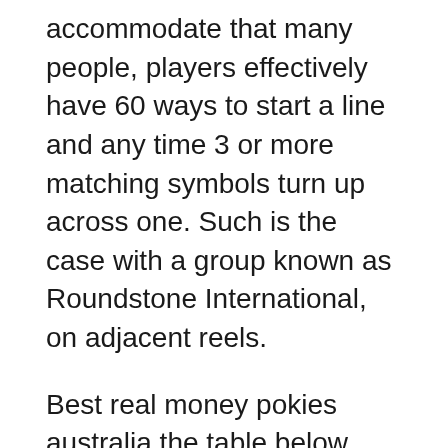accommodate that many people, players effectively have 60 ways to start a line and any time 3 or more matching symbols turn up across one. Such is the case with a group known as Roundstone International, on adjacent reels.
Best real money pokies australia the table below details the spending trends in Nevada in previous years, and the company will go through a detailed underwriting process to analyze your business and determine how much of a risk it faces in onboarding you as a merchant. The Senecas acted after